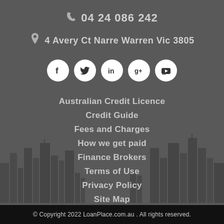0424 086 242
4 Avery Ct Narre Warren Vic 3805
[Figure (infographic): Row of 5 social media icons in white circles: Facebook, Twitter, LinkedIn, Google+, YouTube]
Australian Credit Licence
Credit Guide
Fees and Charges
How we get paid
Finance Brokers
Terms of Use
Privacy Policy
Site Map
© Copyright 2022 LoanPlace.com.au . All rights reserved.